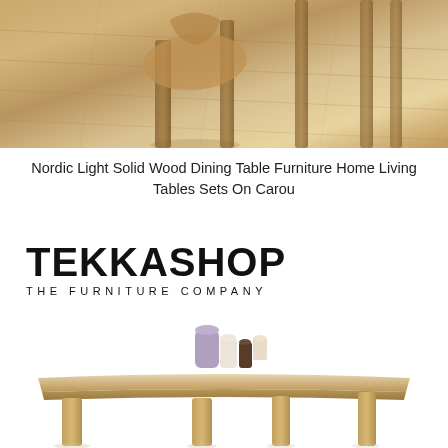[Figure (photo): Overhead/angled photo of a Nordic light solid wood dining table with chairs on a wood plank floor]
Nordic Light Solid Wood Dining Table Furniture Home Living Tables Sets On Carou
[Figure (logo): TEKKASHOP logo with tagline THE FURNITURE COMPANY]
[Figure (photo): Product photo of a light wood rectangular dining table with decorative items on top, on a white background]